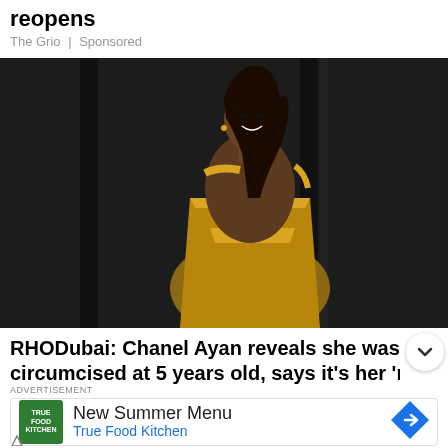reopens
The Grio | Sponsored
[Figure (photo): Woman in gold sequined off-shoulder gown posing against dark background]
RHODubai: Chanel Ayan reveals she was circumcised at 5 years old, says it's her 'mission'
ADVERTISEMENT
[Figure (infographic): Advertisement for True Food Kitchen - New Summer Menu with True Food Kitchen logo and navigation arrow icon]